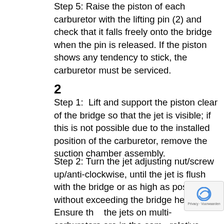Step 5: Raise the piston of each carburetor with the lifting pin (2) and check that it falls freely onto the bridge when the pin is released. If the piston shows any tendency to stick, the carburetor must be serviced.
2
Step 1:  Lift and support the piston clear of the bridge so that the jet is visible; if this is not possible due to the installed position of the carburetor, remove the suction chamber assembly.
Step 2: Turn the jet adjusting nut/screw up/anti-clockwise, until the jet is flush with the bridge or as high as possible without exceeding the bridge height (3). Ensure that the jets on multi-carburetors are in the same relative position to the bridge of their